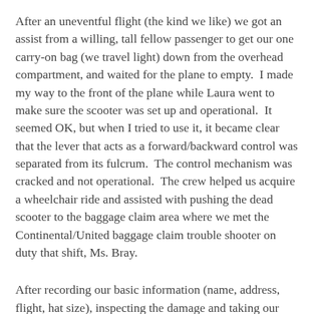After an uneventful flight (the kind we like) we got an assist from a willing, tall fellow passenger to get our one carry-on bag (we travel light) down from the overhead compartment, and waited for the plane to empty.  I made my way to the front of the plane while Laura went to make sure the scooter was set up and operational.  It seemed OK, but when I tried to use it, it became clear that the lever that acts as a forward/backward control was separated from its fulcrum.  The control mechanism was cracked and not operational.  The crew helped us acquire a wheelchair ride and assisted with pushing the dead scooter to the baggage claim area where we met the Continental/United baggage claim trouble shooter on duty that shift, Ms. Bray.
After recording our basic information (name, address, flight, hat size), inspecting the damage and taking our statement, Ms. Bray was convinced that my scooter really was functioning before being committed to their tender care, and then not working when we arrived in The Windy City.  Her actions at that point are best summed up in an e-